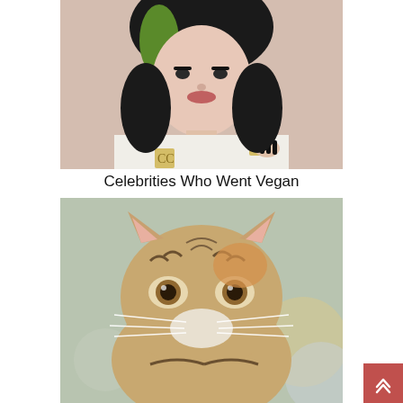[Figure (photo): Photo of a young woman with black and green hair wearing a white jacket with Chanel brooches and gold chain necklaces, looking at camera with a neutral expression.]
Celebrities Who Went Vegan
[Figure (photo): Close-up photo of a small tabby kitten with large brown eyes looking directly at the camera, with a soft blurred background.]